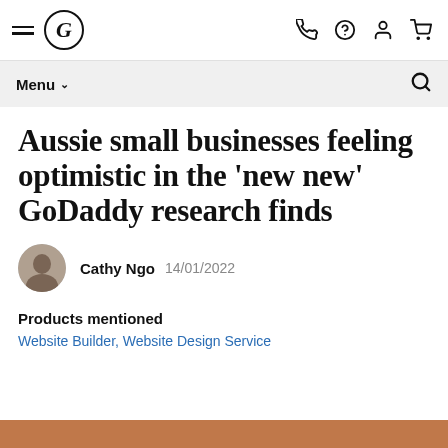GoDaddy navigation bar with hamburger menu, GoDaddy logo, phone, help, account, and cart icons
Menu ▾  [search icon]
Aussie small businesses feeling optimistic in the 'new new' GoDaddy research finds
Cathy Ngo  14/01/2022
Products mentioned
Website Builder, Website Design Service
[Figure (photo): Bottom edge of a warm brown/terracotta colored image, partially visible at the bottom of the page]